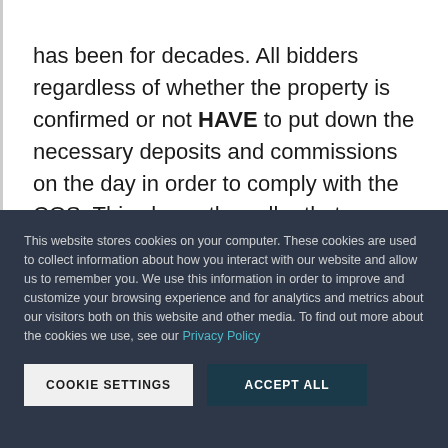has been for decades. All bidders regardless of whether the property is confirmed or not HAVE to put down the necessary deposits and commissions on the day in order to comply with the COS. This shows the seller that you are a person of
This website stores cookies on your computer. These cookies are used to collect information about how you interact with our website and allow us to remember you. We use this information in order to improve and customize your browsing experience and for analytics and metrics about our visitors both on this website and other media. To find out more about the cookies we use, see our Privacy Policy
COOKIE SETTINGS
ACCEPT ALL